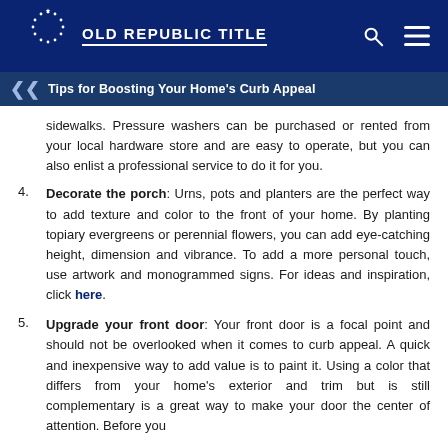OLD REPUBLIC TITLE
Tips for Boosting Your Home's Curb Appeal
sidewalks. Pressure washers can be purchased or rented from your local hardware store and are easy to operate, but you can also enlist a professional service to do it for you.
4. Decorate the porch: Urns, pots and planters are the perfect way to add texture and color to the front of your home. By planting topiary evergreens or perennial flowers, you can add eye-catching height, dimension and vibrance. To add a more personal touch, use artwork and monogrammed signs. For ideas and inspiration, click here.
5. Upgrade your front door: Your front door is a focal point and should not be overlooked when it comes to curb appeal. A quick and inexpensive way to add value is to paint it. Using a color that differs from your home's exterior and trim but is still complementary is a great way to make your door the center of attention. Before you